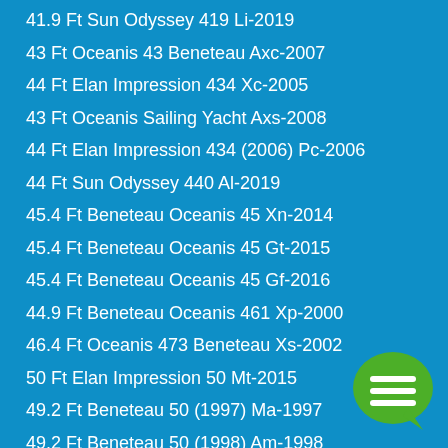41.9 Ft Sun Odyssey 419 Li-2019
43 Ft Oceanis 43 Beneteau Axc-2007
44 Ft Elan Impression 434 Xc-2005
43 Ft Oceanis Sailing Yacht Axs-2008
44 Ft Elan Impression 434 (2006) Pc-2006
44 Ft Sun Odyssey 440 Al-2019
45.4 Ft Beneteau Oceanis 45 Xn-2014
45.4 Ft Beneteau Oceanis 45 Gt-2015
45.4 Ft Beneteau Oceanis 45 Gf-2016
44.9 Ft Beneteau Oceanis 461 Xp-2000
46.4 Ft Oceanis 473 Beneteau Xs-2002
50 Ft Elan Impression 50 Mt-2015
49.2 Ft Beneteau 50 (1997) Ma-1997
49.2 Ft Beneteau 50 (1998) Am-1998
50.8 Ft Beneteau 50 Bi-2004
51 Ft Bavaria Sailing Yacht Ho-2009
51.7 Ft Sun Odyssey 519 Ch-2016
51.7 Ft Sun Odyssey 519 Ac-2017
[Figure (illustration): Green speech bubble chat icon in bottom-right corner]